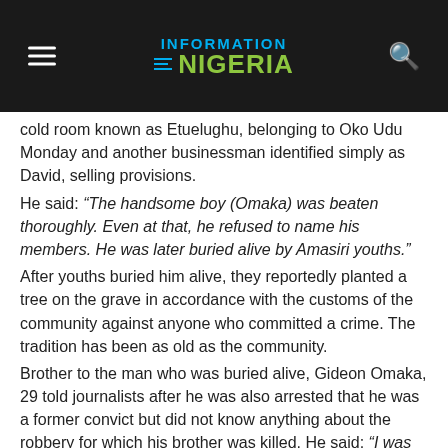Information Nigeria
cold room known as Etuelughu, belonging to Oko Udu Monday and another businessman identified simply as David, selling provisions.
He said: “The handsome boy (Omaka) was beaten thoroughly. Even at that, he refused to name his members. He was later buried alive by Amasiri youths.”
After youths buried him alive, they reportedly planted a tree on the grave in accordance with the customs of the community against anyone who committed a crime. The tradition has been as old as the community.
Brother to the man who was buried alive, Gideon Omaka, 29 told journalists after he was also arrested that he was a former convict but did not know anything about the robbery for which his brother was killed. He said: “I was in my house when people attacked me and killed my brother, Chukwudi. I